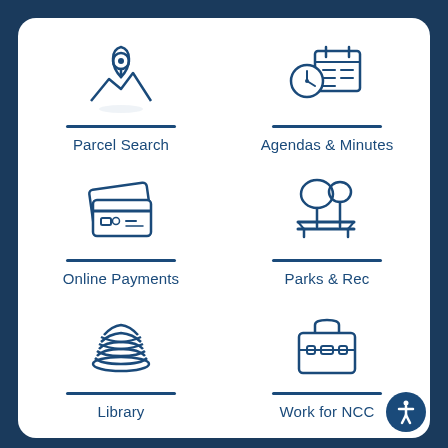[Figure (infographic): Six-icon grid of government service shortcuts: Parcel Search (map pin icon), Agendas & Minutes (calendar/clock icon), Online Payments (credit card icon), Parks & Rec (park bench and tree icon), Library (stacked books icon), Work for NCC (briefcase icon). Blue icons on white card with dark blue background. Accessibility button bottom right.]
Parcel Search
Agendas & Minutes
Online Payments
Parks & Rec
Library
Work for NCC